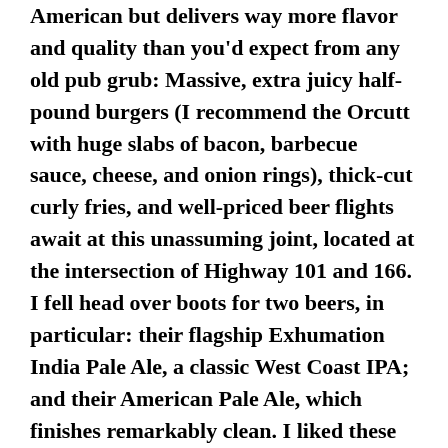American but delivers way more flavor and quality than you'd expect from any old pub grub: Massive, extra juicy half-pound burgers (I recommend the Orcutt with huge slabs of bacon, barbecue sauce, cheese, and onion rings), thick-cut curly fries, and well-priced beer flights await at this unassuming joint, located at the intersection of Highway 101 and 166. I fell head over boots for two beers, in particular: their flagship Exhumation India Pale Ale, a classic West Coast IPA; and their American Pale Ale, which finishes remarkably clean. I liked these two so much that—with the blessing of my bartender—I even mixed the two into one growler. Of course, I went home and shared that beer with my loved ones, because—like I said before—beer's just better when selflessly shared. Although I do recommend heading out